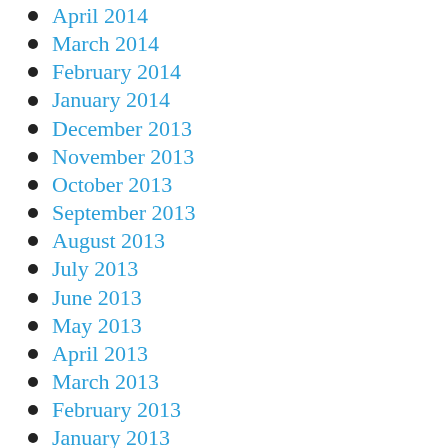April 2014
March 2014
February 2014
January 2014
December 2013
November 2013
October 2013
September 2013
August 2013
July 2013
June 2013
May 2013
April 2013
March 2013
February 2013
January 2013
December 2012